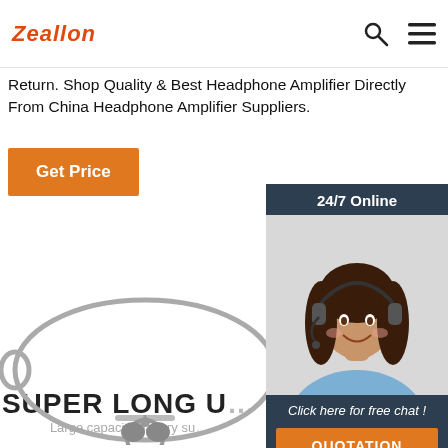Zeallon
Return. Shop Quality & Best Headphone Amplifier Directly From China Headphone Amplifier Suppliers.
Get Price
[Figure (infographic): Customer service widget with 24/7 Online label, photo of smiling woman with headset, 'Click here for free chat!' text, and QUOTATION button]
SUPER LONG U...
Large capacity battery su...
[Figure (photo): Neckband style wireless earphones/headphones against white background]
~1.5H Charging time